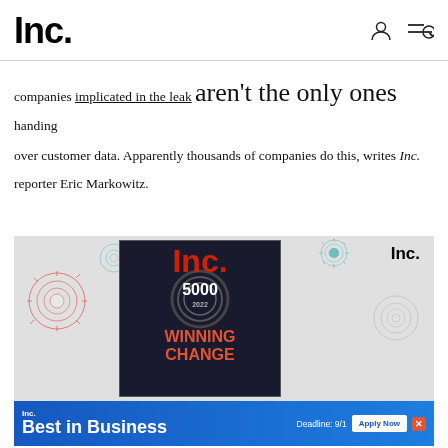Inc.
companies implicated in the leak aren't the only ones handing over customer data. Apparently thousands of companies do this, writes Inc. reporter Eric Markowitz.
[Figure (illustration): Inc. magazine advertisement showing the Inc. 5000 2022 issue cover with 'WINNING CHANGE' headline, decorative firework/starburst patterns in teal and red on a gray background, with Inc. Best in Business banner ad at the bottom showing deadline 9/1 and Apply Now button.]